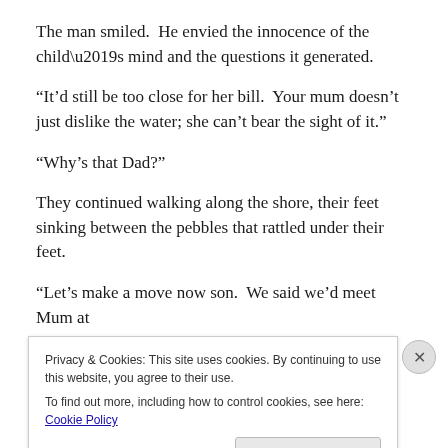The man smiled.  He envied the innocence of the child’s mind and the questions it generated.
“It’d still be too close for her bill.  Your mum doesn’t just dislike the water; she can’t bear the sight of it.”
“Why’s that Dad?”
They continued walking along the shore, their feet sinking between the pebbles that rattled under their feet.
“Let’s make a move now son.  We said we’d meet Mum at
Privacy & Cookies: This site uses cookies. By continuing to use this website, you agree to their use.
To find out more, including how to control cookies, see here: Cookie Policy